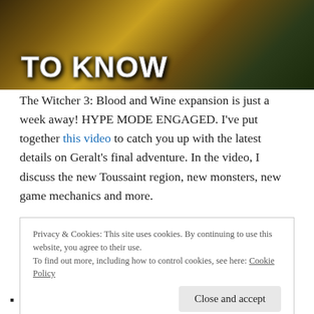[Figure (photo): Game promotional banner image for The Witcher 3: Blood and Wine with stylized text 'TO KNOW' in white bold uppercase letters over a dark fantasy game scene]
The Witcher 3: Blood and Wine expansion is just a week away! HYPE MODE ENGAGED. I've put together this video to catch you up with the latest details on Geralt's final adventure. In the video, I discuss the new Toussaint region, new monsters, new game mechanics and more.
Just as a quick overview, here's a list of some important details you should know about Blood and Wine ahead of
Privacy & Cookies: This site uses cookies. By continuing to use this website, you agree to their use.
To find out more, including how to control cookies, see here: Cookie Policy
Close and accept
Over 90 new quests, and 40 points of interest. Map is